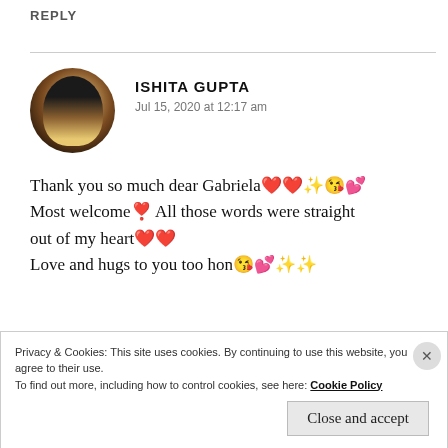REPLY
ISHITA GUPTA
Jul 15, 2020 at 12:17 am
Thank you so much dear Gabriela❤❤✨😘💕 Most welcome❣ All those words were straight out of my heart❤❤
Love and hugs to you too hon😘💕✨✨
Privacy & Cookies: This site uses cookies. By continuing to use this website, you agree to their use.
To find out more, including how to control cookies, see here: Cookie Policy
Close and accept